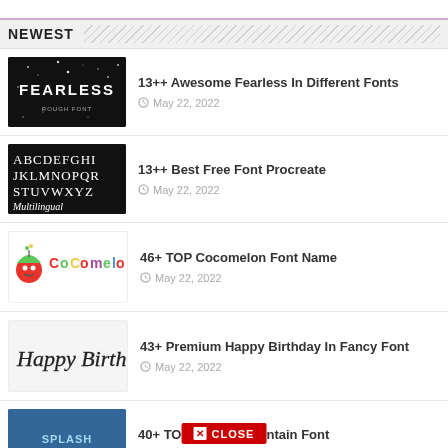NEWEST
13++ Awesome Fearless In Different Fonts
May 22, 2022
13++ Best Free Font Procreate
May 22, 2022
46+ TOP Cocomelon Font Name
May 22, 2022
43+ Premium Happy Birthday In Fancy Font
May 22, 2022
40+ TOP Splash Mountain Font
May 22, 2022